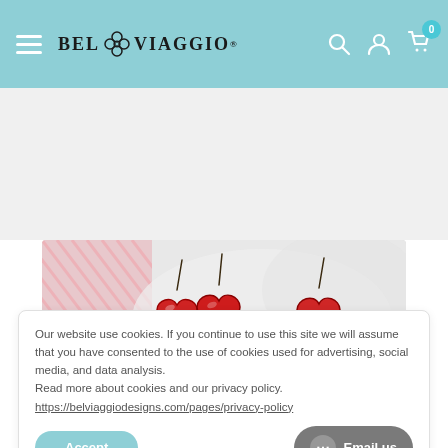BEL VIAGGIO — navigation bar with hamburger menu, logo, search, account, and cart icons
[Figure (photo): Product photo strip showing red heart-shaped objects (candles or decorations) on a fluffy white surface with pink striped fabric background]
Our website use cookies. If you continue to use this site we will assume that you have consented to the use of cookies used for advertising, social media, and data analysis. Read more about cookies and our privacy policy. https://belviaggiodesigns.com/pages/privacy-policy
Accept
Email us